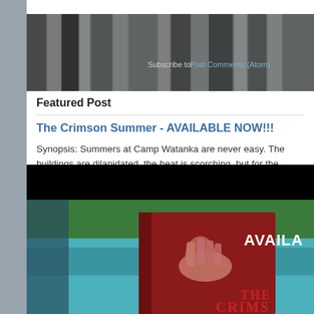Subscribe to: Post Comments (Atom)
Featured Post
The Crimson Summer - AVAILABLE NOW!!!
Synopsis: Summers at Camp Watanka are never easy. The buildings are dilapidated, the heat is scorching, but for the teenage cam...
[Figure (photo): Book cover image for The Crimson Summer showing a red book with hands on the cover, set against a lake with trees and text reading AVAILABLE and THE CRIMS(ON SUMMER) in the background.]